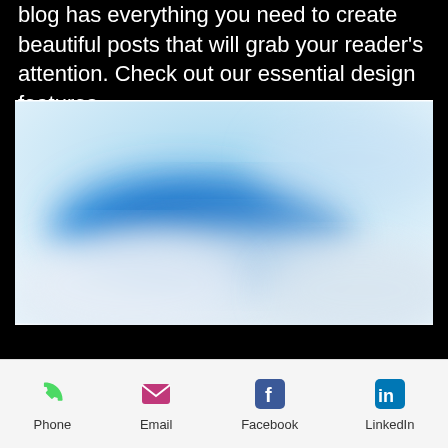blog has everything you need to create beautiful posts that will grab your reader's attention. Check out our essential design features.
[Figure (photo): Blurred image of blue sky and clouds, abstract soft-focus photograph]
Choose from 8 stunning
Phone  Email  Facebook  LinkedIn